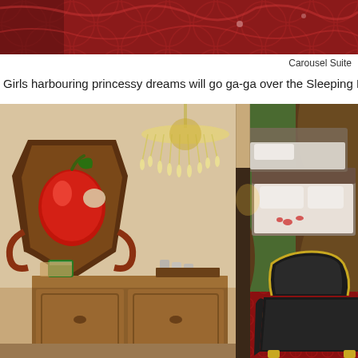[Figure (photo): Top portion of a hotel room photo showing red leather/fabric ceiling or canopy, carousel-themed decor]
Carousel Suite
Girls harbouring princessy dreams will go ga-ga over the Sleeping Beaut
[Figure (photo): Hotel room interior with fairy-tale decor: a carved wooden shield with red apple on wall, crystal chandelier, wooden dresser/cabinet, green and brown curtains, beds with white linens, red patterned carpet, and a dark leather throne-style chair with gold trim]